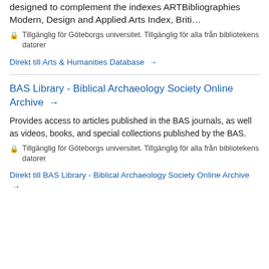designed to complement the indexes ARTBibliographies Modern, Design and Applied Arts Index, Briti…
🔒 Tillgänglig för Göteborgs universitet. Tillgänglig för alla från bibliotekens datorer
Direkt till Arts & Humanities Database →
BAS Library - Biblical Archaeology Society Online Archive →
Provides access to articles published in the BAS journals, as well as videos, books, and special collections published by the BAS.
🔒 Tillgänglig för Göteborgs universitet. Tillgänglig för alla från bibliotekens datorer
Direkt till BAS Library - Biblical Archaeology Society Online Archive →